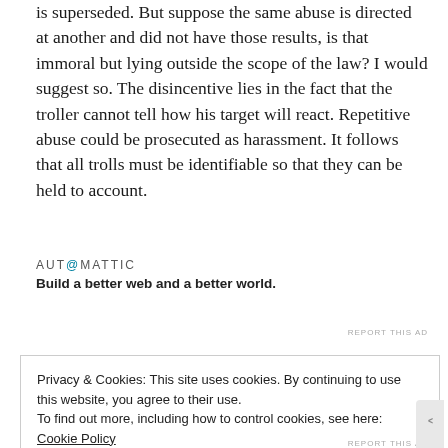is superseded. But suppose the same abuse is directed at another and did not have those results, is that immoral but lying outside the scope of the law? I would suggest so. The disincentive lies in the fact that the troller cannot tell how his target will react. Repetitive abuse could be prosecuted as harassment. It follows that all trolls must be identifiable so that they can be held to account.
[Figure (other): Automattic advertisement: logo text 'AUTOMATTIC' with tagline 'Build a better web and a better world.']
Privacy & Cookies: This site uses cookies. By continuing to use this website, you agree to their use.
To find out more, including how to control cookies, see here: Cookie Policy
Close and accept